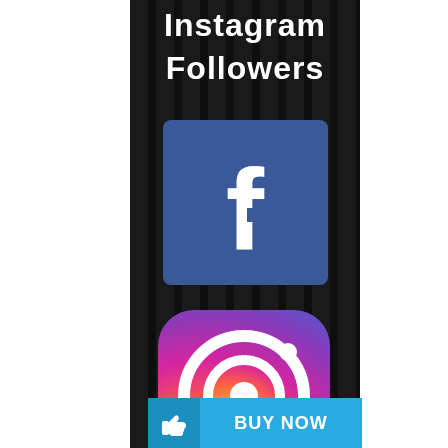Instagram Followers
[Figure (logo): Facebook logo - white 'f' on blue square background]
[Figure (logo): Instagram logo - gradient rainbow square with white camera icon]
BUY NOW